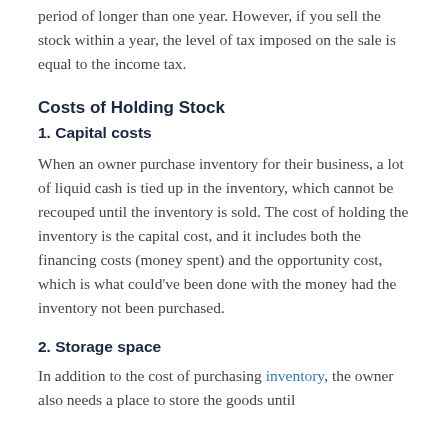period of longer than one year. However, if you sell the stock within a year, the level of tax imposed on the sale is equal to the income tax.
Costs of Holding Stock
1. Capital costs
When an owner purchase inventory for their business, a lot of liquid cash is tied up in the inventory, which cannot be recouped until the inventory is sold. The cost of holding the inventory is the capital cost, and it includes both the financing costs (money spent) and the opportunity cost, which is what could've been done with the money had the inventory not been purchased.
2. Storage space
In addition to the cost of purchasing inventory, the owner also needs a place to store the goods until